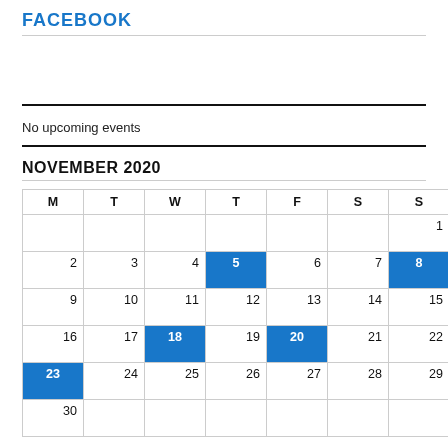FACEBOOK
No upcoming events
NOVEMBER 2020
| M | T | W | T | F | S | S |
| --- | --- | --- | --- | --- | --- | --- |
|  |  |  |  |  |  | 1 |
| 2 | 3 | 4 | 5 | 6 | 7 | 8 |
| 9 | 10 | 11 | 12 | 13 | 14 | 15 |
| 16 | 17 | 18 | 19 | 20 | 21 | 22 |
| 23 | 24 | 25 | 26 | 27 | 28 | 29 |
| 30 |  |  |  |  |  |  |